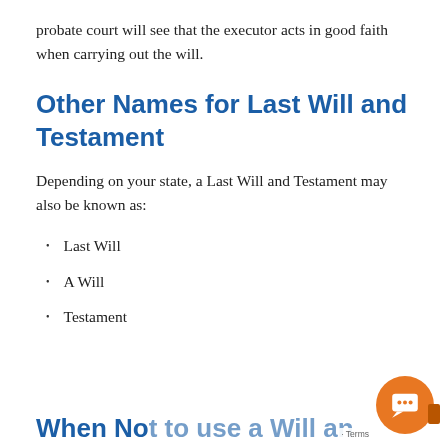probate court will see that the executor acts in good faith when carrying out the will.
Other Names for Last Will and Testament
Depending on your state, a Last Will and Testament may also be known as:
Last Will
A Will
Testament
When You do not need a Will and